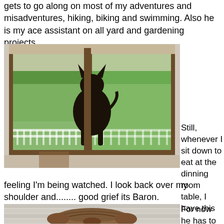gets to go along on most of my adventures and misadventures, hiking, biking and swimming. Also he is my ace assistant on all yard and gardening projects.
[Figure (photo): A dog (Baron) standing at a glass door/window looking inside, silhouetted against an outdoor garden view with trees and a porch railing.]
Still, whenever I sit down to eat at the dinning room table, I have this feeling I'm being watched. I look back over my shoulder and........ good grief its Baron.
[Figure (photo): Close-up photo of a dog's head (Baron) from above/behind, showing top and back of head with fur, on a porch.]
For now he has to eat on the front porch. " Wint...